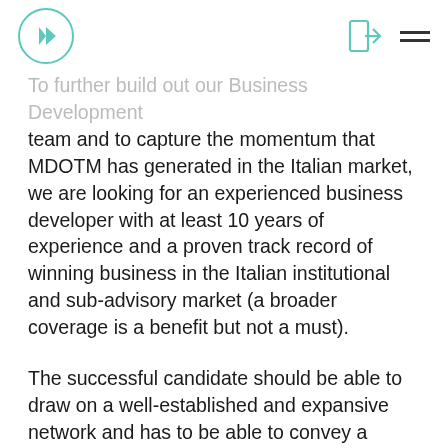[Logo: M circle icon] [Sign-in icon] [Menu icon]
To further build out our Business Development team and to capture the momentum that MDOTM has generated in the Italian market, we are looking for an experienced business developer with at least 10 years of experience and a proven track record of winning business in the Italian institutional and sub-advisory market (a broader coverage is a benefit but not a must).
The successful candidate should be able to draw on a well-established and expansive network and has to be able to convey a technical topic in an understandable way. Due to AI-driven investment strategies’ novel nature, we are looking for a creative thinker with an outgoing personality who wants to help shape the investment industry’s latest development. Entrepreneurial thinking will be a critical